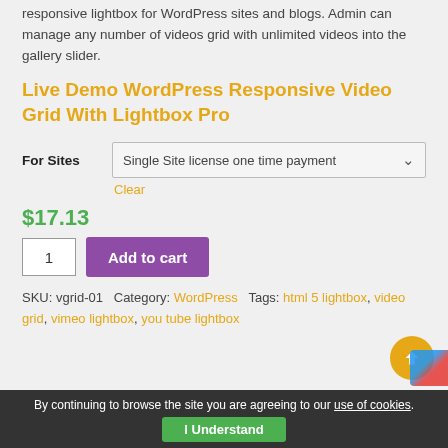responsive lightbox for WordPress sites and blogs. Admin can manage any number of videos grid with unlimited videos into the gallery slider.
Live Demo WordPress Responsive Video Grid With Lightbox Pro
For Sites: Single Site license one time payment
Clear
$17.13
1   Add to cart
SKU: vgrid-01  Category: WordPress  Tags: html 5 lightbox, video grid, vimeo lightbox, you tube lightbox
By continuing to browse the site you are agreeing to our use of cookies. I Understand